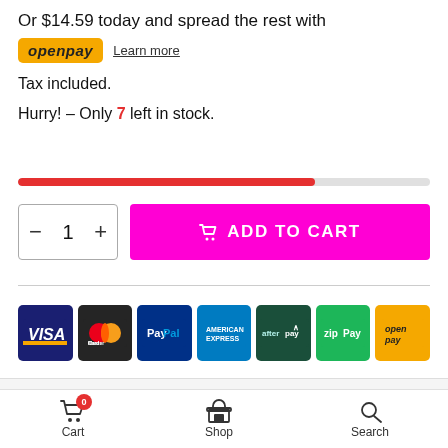Or $14.59 today and spread the rest with openpay Learn more
Tax included.
Hurry! – Only 7 left in stock.
[Figure (infographic): Red progress bar showing stock level, approximately 72% filled]
[Figure (infographic): Quantity selector showing 1 with minus and plus buttons, and ADD TO CART button in magenta]
[Figure (infographic): Payment method icons: VISA, MasterCard, PayPal, American Express, afterpay, zipPay, openpay]
DESCRIPTION
Cart  Shop  Search